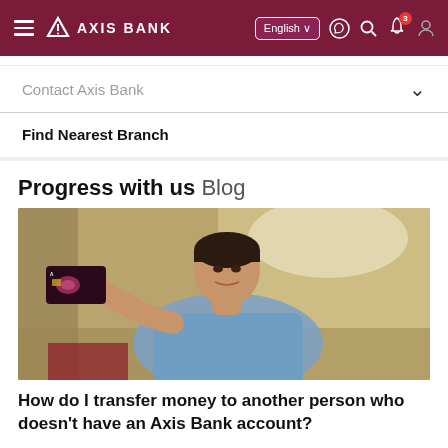AXIS BANK
Contact Axis Bank
Find Nearest Branch
Progress with us Blog
[Figure (photo): A man in a light blue shirt holding up a dark-colored Axis Bank credit card toward the camera, smiling slightly. Background is blurred with warm beige/tan tones.]
How do I transfer money to another person who doesn't have an Axis Bank account?